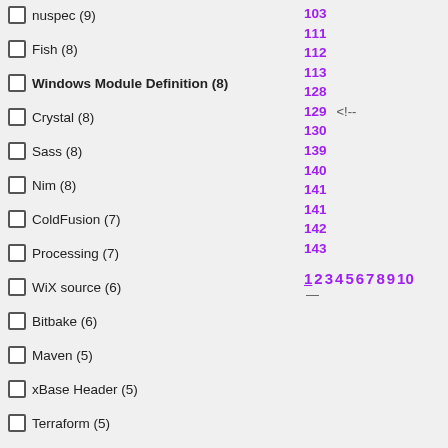nuspec (9)
Fish (8)
Windows Module Definition (8)
Crystal (8)
Sass (8)
Nim (8)
ColdFusion (7)
Processing (7)
WiX source (6)
Bitbake (6)
Maven (5)
xBase Header (5)
Terraform (5)
103 111 112 113 128 129 <!-- 130 139 140 141 141 142 143
1 2 3 4 5 6 7 8 9 10 —